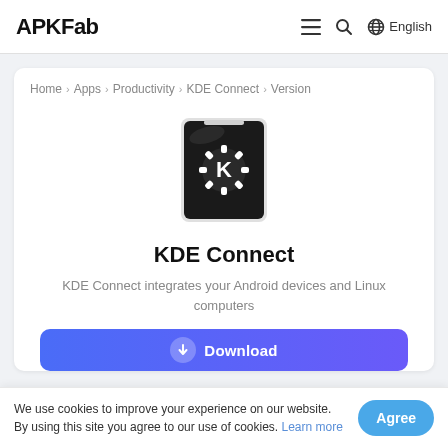APKFab
Home > Apps > Productivity > KDE Connect > Version
[Figure (illustration): KDE Connect app icon: a dark smartphone with a white KDE gear/K logo on screen]
KDE Connect
KDE Connect integrates your Android devices and Linux computers
Download
We use cookies to improve your experience on our website. By using this site you agree to our use of cookies. Learn more